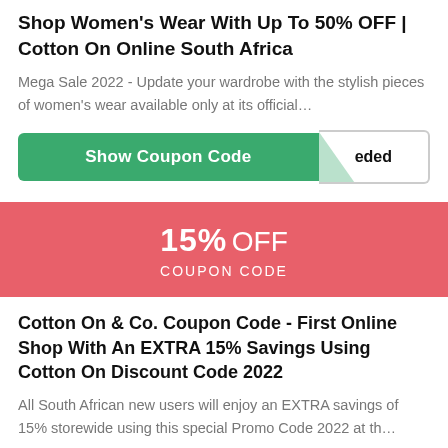Shop Women's Wear With Up To 50% OFF | Cotton On Online South Africa
Mega Sale 2022 - Update your wardrobe with the stylish pieces of women's wear available only at its official…
[Figure (other): Show Coupon Code button (green) with 'eded' code panel on the right]
[Figure (infographic): 15% OFF COUPON CODE banner in red/pink]
Cotton On & Co. Coupon Code - First Online Shop With An EXTRA 15% Savings Using Cotton On Discount Code 2022
All South African new users will enjoy an EXTRA savings of 15% storewide using this special Promo Code 2022 at th…
[Figure (other): Show Coupon Code button (green) partially visible at bottom]